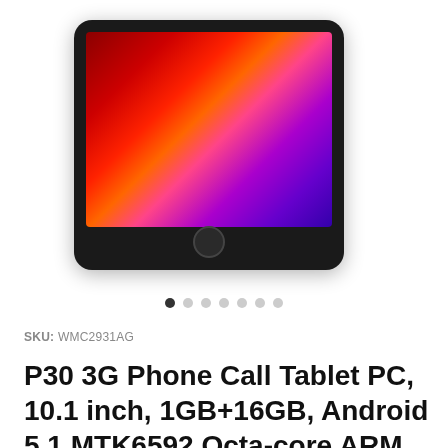[Figure (photo): Product photo of a tablet PC (black, front view with colorful abstract wallpaper) and a green tablet/phone case behind it]
SKU: WMC2931AG
P30 3G Phone Call Tablet PC, 10.1 inch, 1GB+16GB, Android 5.1 MTK6592 Octa-core ARM Cortex A7 1.4GHz, Support WiFi / Bluetooth / GPS, US Plug(Army Green)